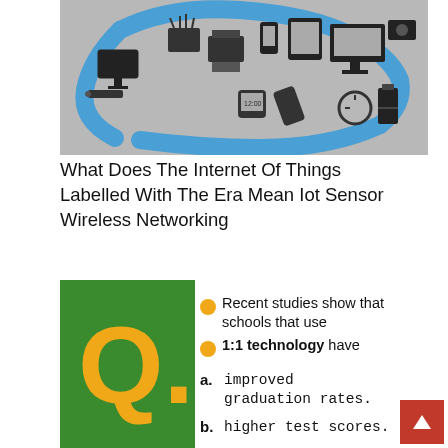[Figure (illustration): IoT devices and sensors connected by blue arrows in a circular network pattern on a grey background]
What Does The Internet Of Things Labelled With The Era Mean Iot Sensor Wireless Networking
[Figure (infographic): Green panel with yellow Q letter and orange dot bullets stating: Recent studies show that schools that use 1:1 technology have. List items: a. improved graduation rates. b. higher test scores.]
a. improved graduation rates.
b. higher test scores.